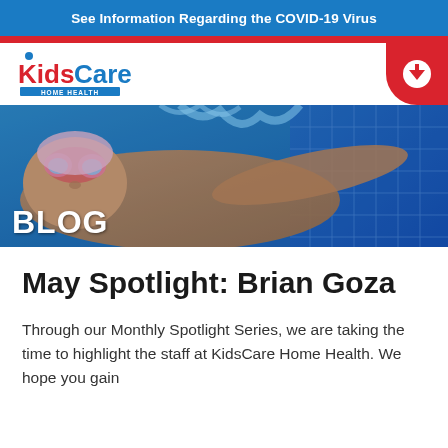See Information Regarding the COVID-19 Virus
[Figure (logo): KidsCare Home Health logo with blue and red text and tagline HOME HEALTH]
[Figure (photo): Underwater photo of a child swimming with pink goggles, arms extended, blue pool water]
May Spotlight: Brian Goza
Through our Monthly Spotlight Series, we are taking the time to highlight the staff at KidsCare Home Health. We hope you gain